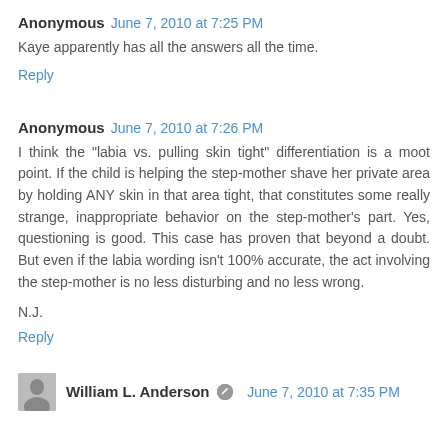Anonymous  June 7, 2010 at 7:25 PM
Kaye apparently has all the answers all the time.
Reply
Anonymous  June 7, 2010 at 7:26 PM
I think the "labia vs. pulling skin tight" differentiation is a moot point. If the child is helping the step-mother shave her private area by holding ANY skin in that area tight, that constitutes some really strange, inappropriate behavior on the step-mother's part. Yes, questioning is good. This case has proven that beyond a doubt. But even if the labia wording isn't 100% accurate, the act involving the step-mother is no less disturbing and no less wrong.
N.J.
Reply
William L. Anderson  June 7, 2010 at 7:35 PM